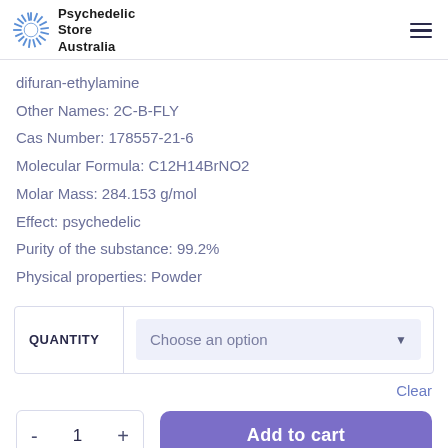Psychedelic Store Australia
difuran-ethylamine
Other Names: 2C-B-FLY
Cas Number: 178557-21-6
Molecular Formula: C12H14BrNO2
Molar Mass: 284.153 g/mol
Effect: psychedelic
Purity of the substance: 99.2%
Physical properties: Powder